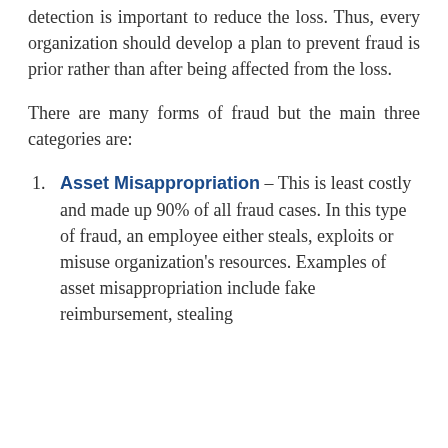detection is important to reduce the loss. Thus, every organization should develop a plan to prevent fraud is prior rather than after being affected from the loss.
There are many forms of fraud but the main three categories are:
Asset Misappropriation – This is least costly and made up 90% of all fraud cases. In this type of fraud, an employee either steals, exploits or misuse organization's resources. Examples of asset misappropriation include fake reimbursement, stealing